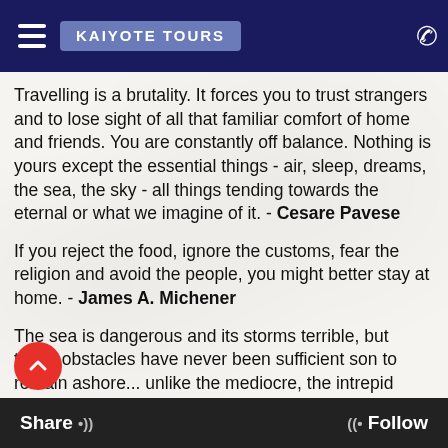KAIYOTE TOURS
Travelling is a brutality. It forces you to trust strangers and to lose sight of all that familiar comfort of home and friends. You are constantly off balance. Nothing is yours except the essential things - air, sleep, dreams, the sea, the sky - all things tending towards the eternal or what we imagine of it. - Cesare Pavese
If you reject the food, ignore the customs, fear the religion and avoid the people, you might better stay at home. - James A. Michener
The sea is dangerous and its storms terrible, but these obstacles have never been sufficient son to remain ashore... unlike the mediocre, the intrepid spirits seek victory over those things that seem impossible... it is with an iron will that they embark on the most daring of all
Share •)) ((• Follow